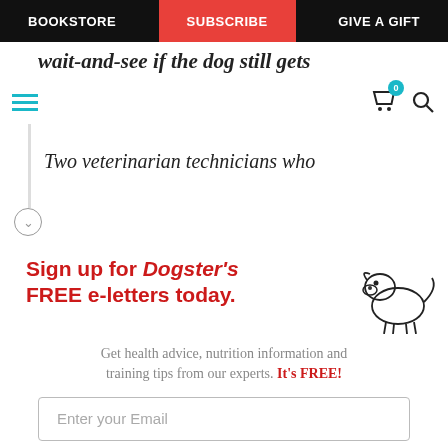BOOKSTORE | SUBSCRIBE | GIVE A GIFT
wait-and-see if the dog still gets
Two veterinarian technicians who
Sign up for Dogster's FREE e-letters today.
Get health advice, nutrition information and training tips from our experts. It's FREE!
Enter your Email
YES! SIGN ME UP